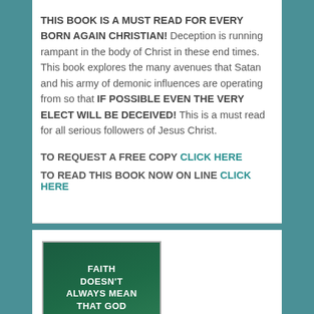THIS BOOK IS A MUST READ FOR EVERY BORN AGAIN CHRISTIAN! Deception is running rampant in the body of Christ in these end times. This book explores the many avenues that Satan and his army of demonic influences are operating from so that IF POSSIBLE EVEN THE VERY ELECT WILL BE DECEIVED! This is a must read for all serious followers of Jesus Christ.
TO REQUEST A FREE COPY CLICK HERE
TO READ THIS BOOK NOW ON LINE CLICK HERE
[Figure (illustration): Book cover with dark green background showing text: FAITH DOESN'T ALWAYS MEAN THAT GOD CHANGES YOUR SITUATION SOMETIMES IT]